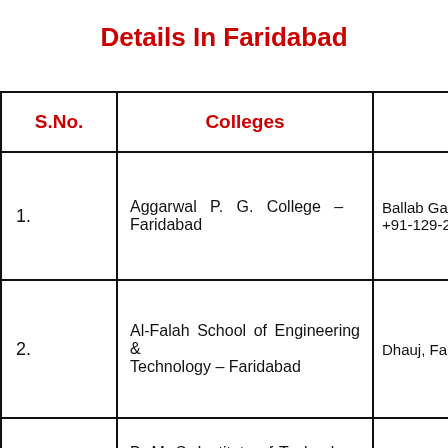Details In Faridabad
| S.No. | Colleges |  |
| --- | --- | --- |
| 1. | Aggarwal P. G. College – Faridabad | Ballab Garh, +91-129-22 |
| 2. | Al-Falah School of Engineering & Technology – Faridabad | Dhauj, Farid |
| 3. | B. M. S. Institute of Technology – Faridabad | Faridabad, |